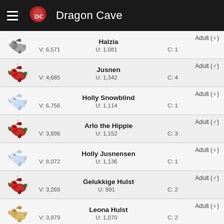Dragon Cave
Halzia — Adult (♀) — V: 6,571 U: 1,081 C: 1
Jusnen — Adult (♂) — V: 4,685 U: 1,342 C: 4
Holly Snowblind — Adult (♀) — V: 6,756 U: 1,114 C: 1
Arlo the Hippie — Adult (♂) — V: 3,836 U: 1,152 C: 3
Holly Jusnensen — Adult (♀) — V: 8,072 U: 1,136 C: 1
Gelukkige Hulst — Adult (♂) — V: 3,269 U: 991 C: 2
Leona Hulst — Adult (♀) — V: 3,979 U: 1,070 C: 2
Lukkiona Hulst — Adult (♀)